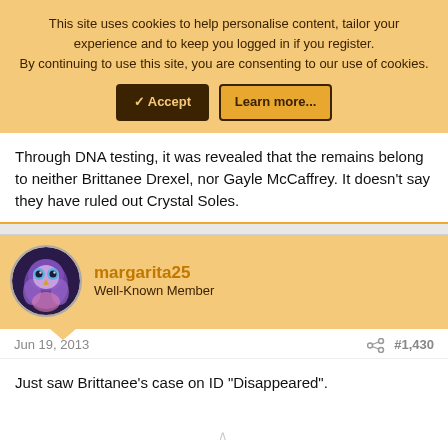This site uses cookies to help personalise content, tailor your experience and to keep you logged in if you register. By continuing to use this site, you are consenting to our use of cookies.
✓ Accept | Learn more...
Through DNA testing, it was revealed that the remains belong to neither Brittanee Drexel, nor Gayle McCaffrey. It doesn't say they have ruled out Crystal Soles.
margarita25
Well-Known Member
Jun 19, 2013   #1,430
Just saw Brittanee's case on ID "Disappeared".